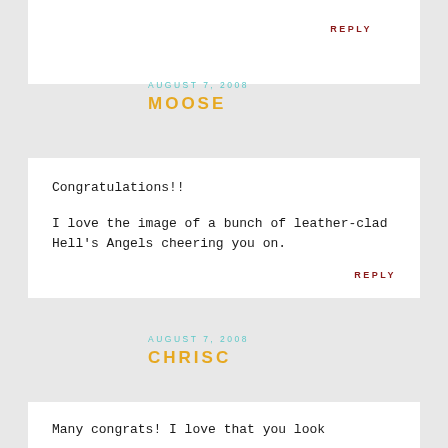REPLY
AUGUST 7, 2008
MOOSE
Congratulations!!

I love the image of a bunch of leather-clad Hell's Angels cheering you on.
REPLY
AUGUST 7, 2008
CHRISC
Many congrats! I love that you look